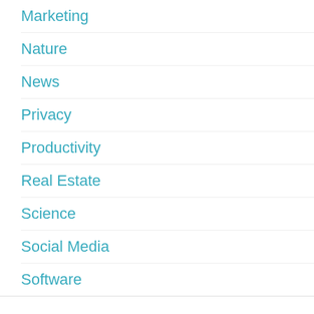Marketing
Nature
News
Privacy
Productivity
Real Estate
Science
Social Media
Software
We use cookies on our website to give you the most relevant experience by remembering your preferences and repeat visits. By clicking "Accept All", you consent to the use of ALL the cookies. However, you may visit "Cookie Settings" to provide a controlled consent.
Cookie Settings | Accept All